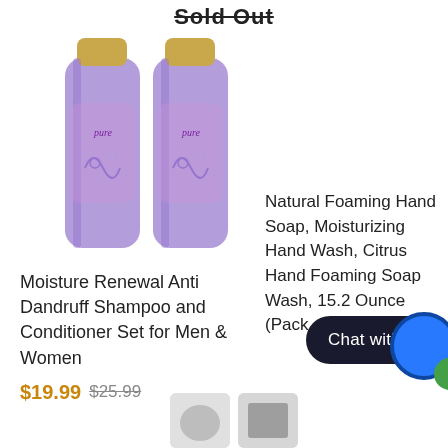Sold Out
[Figure (photo): Two purple shampoo/conditioner bottles with gold caps labeled 'pure']
Moisture Renewal Anti Dandruff Shampoo and Conditioner Set for Men & Women
$19.99 $25.99
Natural Foaming Hand Soap, Moisturizing Hand Wash, Citrus Hand Foaming Soap Wash, 15.2 Ounce (Pack of...
[Figure (screenshot): Chat with us button overlay in dark rounded pill shape with blue circle and green dot]